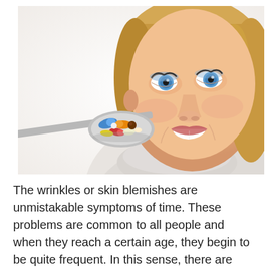[Figure (photo): A smiling blonde woman with blue eyes wearing a white turtleneck sweater, looking at a spoon filled with colorful supplement capsules and pills held up in front of her.]
The wrinkles or skin blemishes are unmistakable symptoms of time. These problems are common to all people and when they reach a certain age, they begin to be quite frequent. In this sense, there are many creams and other cosmetic products that seek to hide them, trying to tone the skin to disguise wrinkles. Despite the popularity of these cosmetic